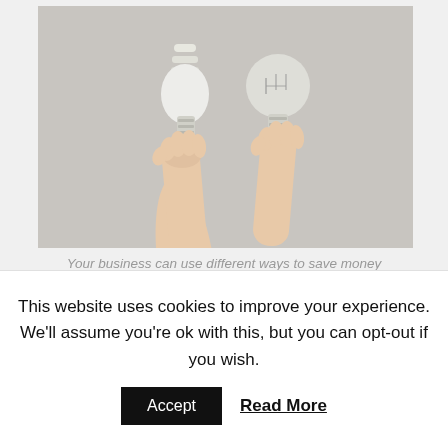[Figure (photo): Two hands raised up holding light bulbs — one CFL/spiral bulb on the left and one traditional incandescent bulb on the right — against a light grey background.]
Your business can use different ways to save money
This website uses cookies to improve your experience. We'll assume you're ok with this, but you can opt-out if you wish.